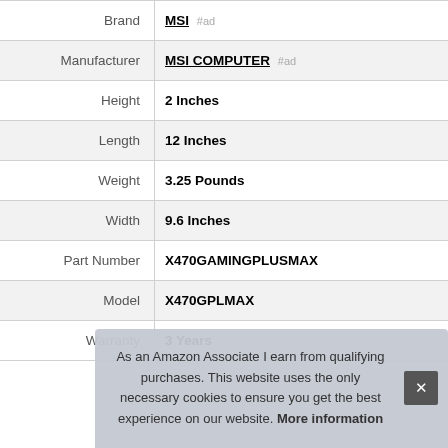| Attribute | Value |
| --- | --- |
| Brand | MSI #ad |
| Manufacturer | MSI COMPUTER #ad |
| Height | 2 Inches |
| Length | 12 Inches |
| Weight | 3.25 Pounds |
| Width | 9.6 Inches |
| Part Number | X470GAMINGPLUSMAX |
| Model | X470GPLMAX |
| Warranty | 3 Years |
As an Amazon Associate I earn from qualifying purchases. This website uses the only necessary cookies to ensure you get the best experience on our website. More information